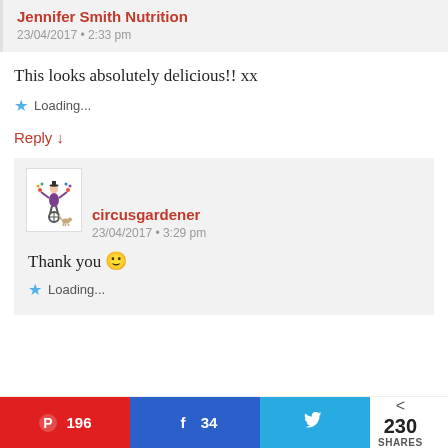Jennifer Smith Nutrition
23/04/2017 • 2:33 pm
This looks absolutely delicious!! xx
Loading...
Reply ↓
[Figure (illustration): Circus juggler avatar image — person on unicycle juggling balls with a dog nearby]
circusgardener
23/04/2017 • 3:29 pm
Thank you 🙂
Loading...
196  34  230 SHARES